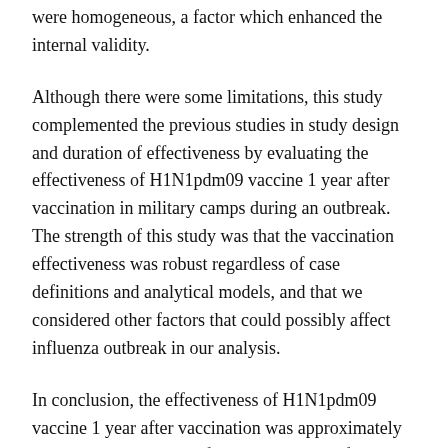were homogeneous, a factor which enhanced the internal validity.
Although there were some limitations, this study complemented the previous studies in study design and duration of effectiveness by evaluating the effectiveness of H1N1pdm09 vaccine 1 year after vaccination in military camps during an outbreak. The strength of this study was that the vaccination effectiveness was robust regardless of case definitions and analytical models, and that we considered other factors that could possibly affect influenza outbreak in our analysis.
In conclusion, the effectiveness of H1N1pdm09 vaccine 1 year after vaccination was approximately 47%, and this study confirmed the results of previous studies, which showed that vaccination effectiveness decreased as time passed.
Acknowledgements